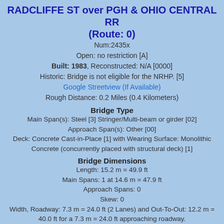RADCLIFFE ST over PGH & OHIO CENTRAL RR (Route: 0)
Num:2435x
Open: no restriction [A]
Built: 1983, Reconstructed: N/A [0000]
Historic: Bridge is not eligible for the NRHP. [5]
Google Streetview (If Available)
Rough Distance: 0.2 Miles (0.4 Kilometers)
Bridge Type
Main Span(s): Steel [3] Stringer/Multi-beam or girder [02]
Approach Span(s): Other [00]
Deck: Concrete Cast-in-Place [1] with Wearing Surface: Monolithic Concrete (concurrently placed with structural deck) [1]
Bridge Dimensions
Length: 15.2 m = 49.9 ft
Main Spans: 1 at 14.6 m = 47.9 ft
Approach Spans: 0
Skew: 0
Width, Roadway: 7.3 m = 24.0 ft (2 Lanes) and Out-To-Out: 12.2 m = 40.0 ft for a 7.3 m = 24.0 ft approaching roadway.